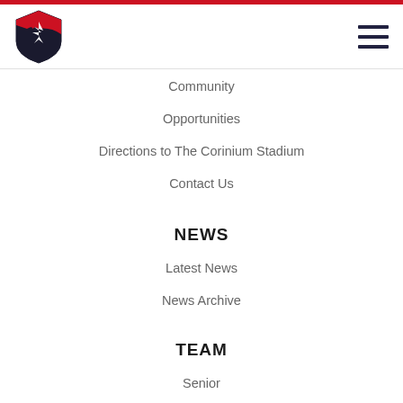[Figure (logo): Shield-shaped logo with red and black colors and a stylized bird/wing design]
Community
Opportunities
Directions to The Corinium Stadium
Contact Us
NEWS
Latest News
News Archive
TEAM
Senior
Under 16